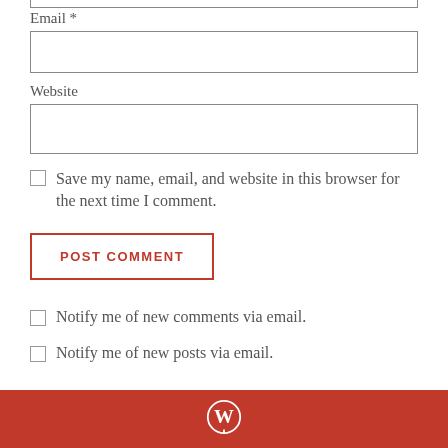Email *
Website
Save my name, email, and website in this browser for the next time I comment.
POST COMMENT
Notify me of new comments via email.
Notify me of new posts via email.
[Figure (logo): WordPress logo in white on red footer bar]